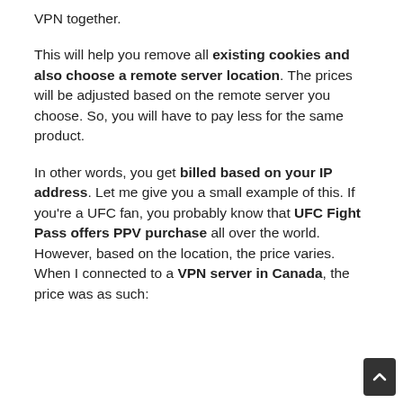VPN together.
This will help you remove all existing cookies and also choose a remote server location. The prices will be adjusted based on the remote server you choose. So, you will have to pay less for the same product.
In other words, you get billed based on your IP address. Let me give you a small example of this. If you're a UFC fan, you probably know that UFC Fight Pass offers PPV purchase all over the world. However, based on the location, the price varies. When I connected to a VPN server in Canada, the price was as such: